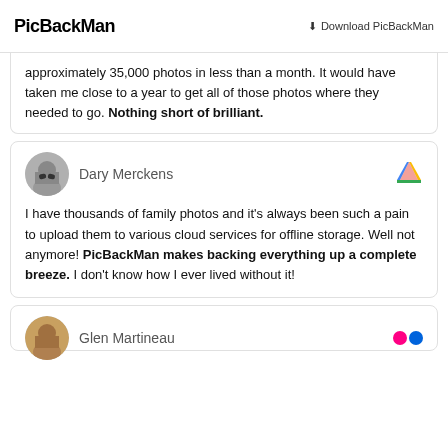PicBackMan | Download PicBackMan
approximately 35,000 photos in less than a month. It would have taken me close to a year to get all of those photos where they needed to go. Nothing short of brilliant.
Dary Merckens
I have thousands of family photos and it's always been such a pain to upload them to various cloud services for offline storage. Well not anymore! PicBackMan makes backing everything up a complete breeze. I don't know how I ever lived without it!
Glen Martineau